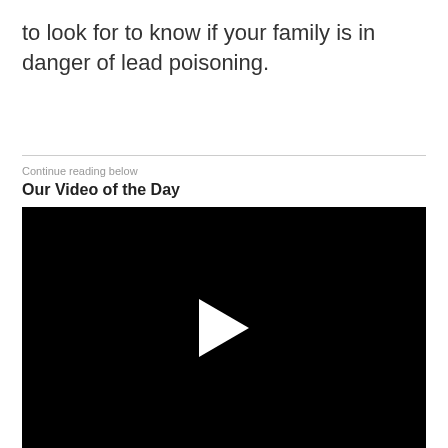to look for to know if your family is in danger of lead poisoning.
Continue reading below
Our Video of the Day
[Figure (other): Black video player with a white play button triangle in the center]